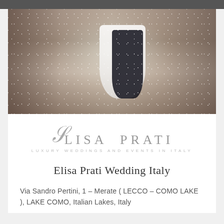[Figure (photo): Wedding photo showing a bride and groom walking through an aisle of guests throwing confetti/white petals inside what appears to be a historic stone building. Bride in white gown, groom in dark suit, guests on both sides with hands raised.]
[Figure (logo): Elisa Prati logo with decorative script 'E' followed by 'LISA PRATI' in spaced serif letters, and subtitle 'LUXURY WEDDINGS AND EVENTS IN ITALY' in small caps]
Elisa Prati Wedding Italy
Via Sandro Pertini, 1 – Merate ( LECCO – COMO LAKE ), LAKE COMO, Italian Lakes, Italy